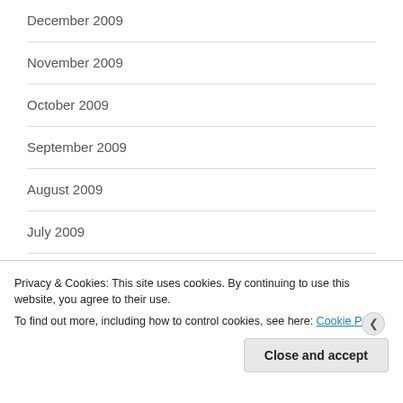December 2009
November 2009
October 2009
September 2009
August 2009
July 2009
June 2009
May 2009
Privacy & Cookies: This site uses cookies. By continuing to use this website, you agree to their use.
To find out more, including how to control cookies, see here: Cookie Policy
Close and accept